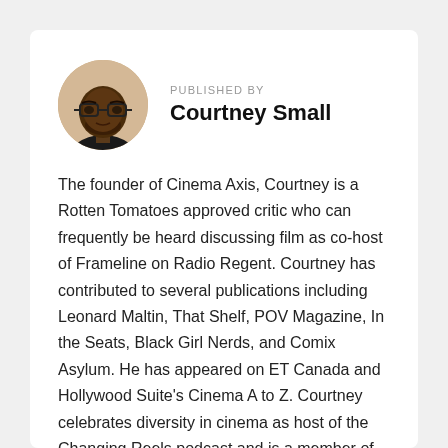[Figure (photo): Circular profile photo of Courtney Small, a Black man wearing glasses and a dark shirt, against a light background.]
PUBLISHED BY
Courtney Small
The founder of Cinema Axis, Courtney is a Rotten Tomatoes approved critic who can frequently be heard discussing film as co-host of Frameline on Radio Regent. Courtney has contributed to several publications including Leonard Maltin, That Shelf, POV Magazine, In the Seats, Black Girl Nerds, and Comix Asylum. He has appeared on ET Canada and Hollywood Suite's Cinema A to Z. Courtney celebrates diversity in cinema as host of the Changing Reels podcast and is a member of the Toronto Film Critics Association, the Online Film Critics Society, and the African American Film Critics Association...